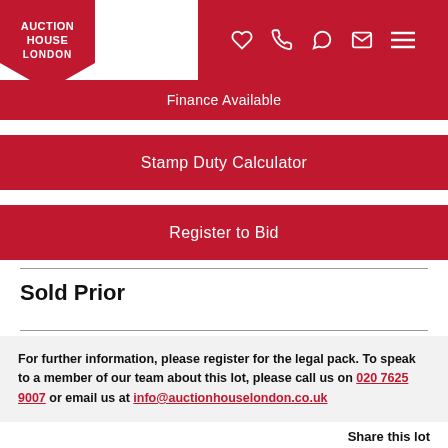AUCTION HOUSE LONDON
Finance Available
Stamp Duty Calculator
Register to Bid
Sold Prior
For further information, please register for the legal pack. To speak to a member of our team about this lot, please call us on 020 7625 9007 or email us at info@auctionhouselondon.co.uk
Share this lot